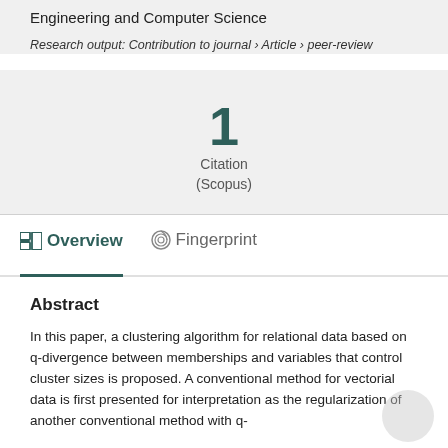Engineering and Computer Science
Research output: Contribution to journal › Article › peer-review
1
Citation
(Scopus)
Overview
Fingerprint
Abstract
In this paper, a clustering algorithm for relational data based on q-divergence between memberships and variables that control cluster sizes is proposed. A conventional method for vectorial data is first presented for interpretation as the regularization of another conventional method with q-